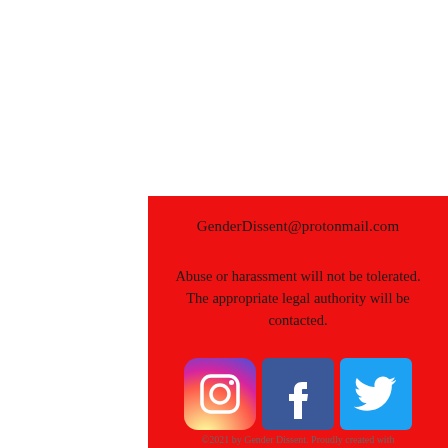GenderDissent@protonmail.com
Abuse or harassment will not be tolerated. The appropriate legal authority will be contacted.
[Figure (logo): Instagram, Facebook, and Twitter social media icons]
©2021 by Gender Dissent. Proudly created with Wix.com